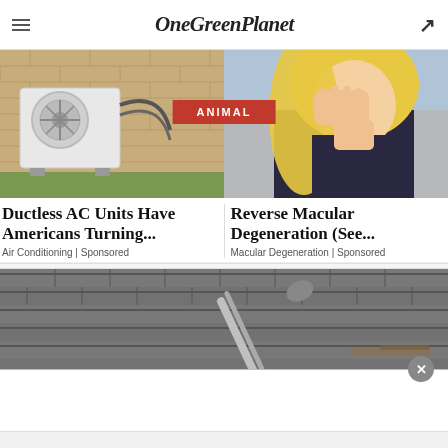OneGreenPlanet
ANIMAL
[Figure (photo): Outdoor ductless AC unit mounted on brick wall]
[Figure (photo): Woman rubbing her eye]
Ductless AC Units Have Americans Turning...
Air Conditioning | Sponsored
Reverse Macular Degeneration (See...
Macular Degeneration | Sponsored
[Figure (photo): Roof gutter cleaning tool on shingles]
[Figure (screenshot): White popup overlay with close X button]